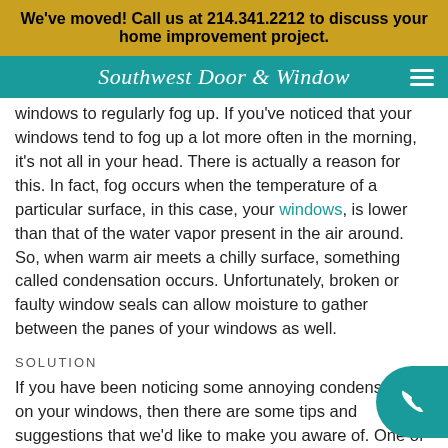We've moved! Call us at 214.341.2212 to discuss your home improvement project.
Southwest Door & Window
windows to regularly fog up. If you've noticed that your windows tend to fog up a lot more often in the morning, it's not all in your head. There is actually a reason for this. In fact, fog occurs when the temperature of a particular surface, in this case, your windows, is lower than that of the water vapor present in the air around. So, when warm air meets a chilly surface, something called condensation occurs. Unfortunately, broken or faulty window seals can allow moisture to gather between the panes of your windows as well.
SOLUTION
If you have been noticing some annoying condensation on your windows, then there are some tips and suggestions that we'd like to make you aware of. One of the first things you can do is to invest in energy efficient glass windows. These types of windows work to block out moisture before it has the